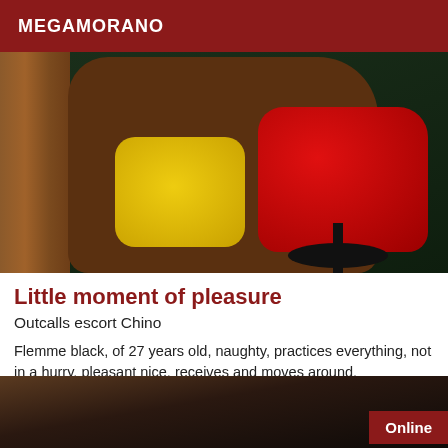MEGAMORANO
[Figure (photo): A person wearing a red leather skirt and yellow top/bag, seated on a stool next to a wooden post against a dark green background]
Little moment of pleasure
Outcalls escort Chino
Flemme black, of 27 years old, naughty, practices everything, not in a hurry, pleasant nice, receives and moves around.
[Figure (photo): Partial view of another listing photo at the bottom with an Online badge]
Online